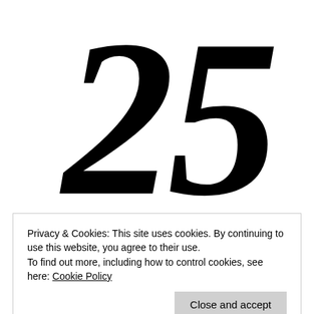[Figure (illustration): Large decorative numeral '25' in a bold black serif/italic typeface filling the upper portion of the page]
Privacy & Cookies: This site uses cookies. By continuing to use this website, you agree to their use.
To find out more, including how to control cookies, see here: Cookie Policy
Close and accept